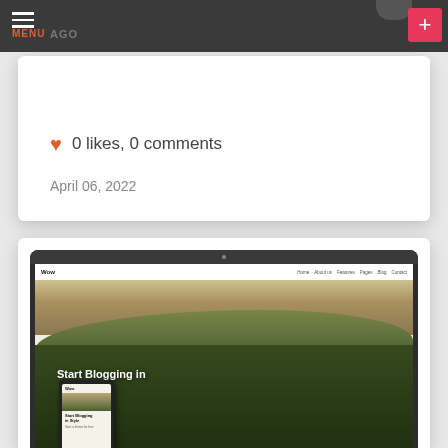MENU  AGO
0 likes, 0 comments
April 06, 2022
[Figure (screenshot): Screenshot of a blog/website template called 'Wow' showing a forest/mountain hero image with text 'Start Blogging in' and a mobile phone mockup overlay showing 'Start Blogging in Style']